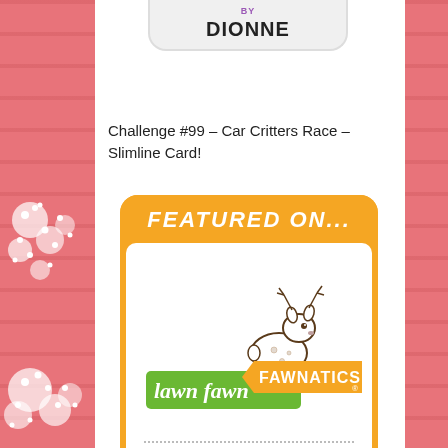[Figure (illustration): Name badge showing 'BY' in purple and 'DIONNE' in bold dark text on a light gray rounded rectangle at top of white panel]
Challenge #99 – Car Critters Race – Slimline Card!
[Figure (logo): Lawn Fawn Fawnatics Featured On badge: orange rounded rectangle with white 'FEATURED ON...' text at top, white inner box with deer illustration, green and orange Lawn Fawn Fawnatics logo, dotted line, and 'THE LAWN FAWN CHALLENGE BLOG' text in green]
[Figure (illustration): Pink/white flowers (baby's breath) decorating left side of page]